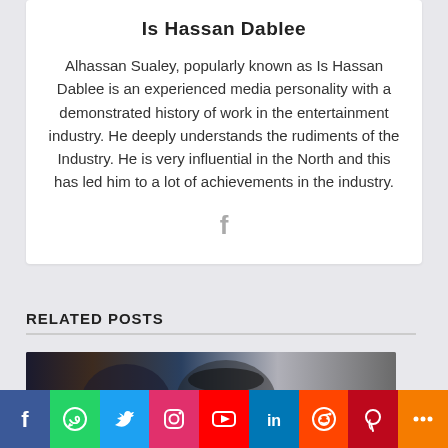Is Hassan Dablee
Alhassan Sualey, popularly known as Is Hassan Dablee is an experienced media personality with a demonstrated history of work in the entertainment industry. He deeply understands the rudiments of the Industry. He is very influential in the North and this has led him to a lot of achievements in the industry.
[Figure (logo): Facebook icon (f) in gray]
RELATED POSTS
[Figure (photo): Photo collage showing people wearing face masks]
[Figure (logo): reCAPTCHA badge]
Social share bar with icons: Facebook, WhatsApp, Twitter, Instagram, YouTube, LinkedIn, Reddit, Pinterest, More